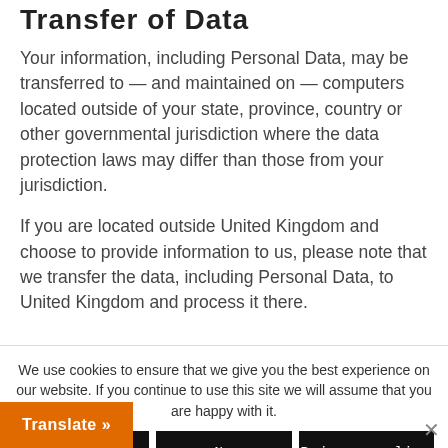Transfer of Data
Your information, including Personal Data, may be transferred to — and maintained on — computers located outside of your state, province, country or other governmental jurisdiction where the data protection laws may differ than those from your jurisdiction.
If you are located outside United Kingdom and choose to provide information to us, please note that we transfer the data, including Personal Data, to United Kingdom and process it there.
We use cookies to ensure that we give you the best experience on our website. If you continue to use this site we will assume that you are happy with it.